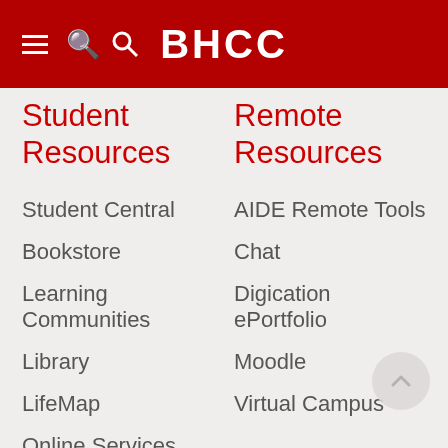BHCC
Student Resources
Remote Resources
Student Central
Bookstore
Learning Communities
Library
LifeMap
Online Services
AIDE Remote Tools
Chat
Digication ePortfolio
Moodle
Virtual Campus
Student
Community